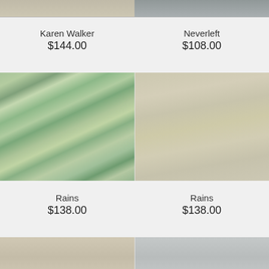[Figure (photo): Top portion of Karen Walker coat product photo (cropped), light beige/tan color]
Karen Walker
$144.00
[Figure (photo): Top portion of Neverleft product photo (cropped), dark/grey tone]
Neverleft
$108.00
[Figure (photo): Rains floral/watercolor-print belted trench coat on mannequin, green and blue tones]
Rains
$138.00
[Figure (photo): Rains long beige/tan rain coat on mannequin, plain neutral color]
Rains
$138.00
[Figure (photo): Bottom portion of another product photo (cropped, partially visible), light tan/beige]
[Figure (photo): Bottom portion of another product photo (cropped, partially visible), light grey/white]